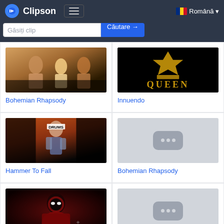Clipson
Găsiți clip
Căutare →
Română
[Figure (screenshot): Thumbnail for Bohemian Rhapsody - group of people]
Bohemian Rhapsody
[Figure (screenshot): Thumbnail for Innuendo - Queen logo black background with gold crest]
Innuendo
[Figure (screenshot): Thumbnail for Hammer To Fall - person with DRUMS headband on orange background]
Hammer To Fall
[Figure (screenshot): Placeholder thumbnail with three dots]
Bohemian Rhapsody
[Figure (screenshot): Dark thumbnail with masked figure in red]
[Figure (screenshot): Placeholder thumbnail with three dots]